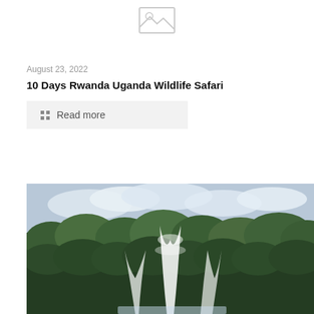[Figure (illustration): Placeholder image icon (landscape/mountain symbol) shown in gray on white background]
August 23, 2022
10 Days Rwanda Uganda Wildlife Safari
Read more
[Figure (photo): Outdoor photo showing large water fountain spraying high into the air, surrounded by dense green trees under a partly cloudy sky]